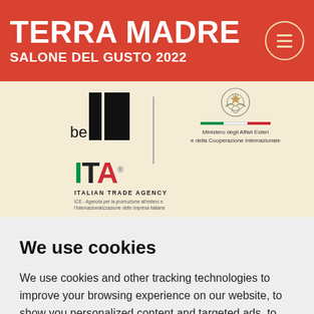TERRA MADRE SALONE DEL GUSTO 2022
[Figure (logo): be IT logo — stylized black vertical bars with 'be' text beside them, and a vertical divider line]
[Figure (logo): Ministero degli Affari Esteri e della Cooperazione Internazionale — Italian government emblem with Italian flag bar and ministry name]
[Figure (logo): ITA Italian Trade Agency logo — ITA in green/black/red with trademark symbol, ITALIAN TRADE AGENCY text, and ICE subtitle]
We use cookies
We use cookies and other tracking technologies to improve your browsing experience on our website, to show you personalized content and targeted ads, to